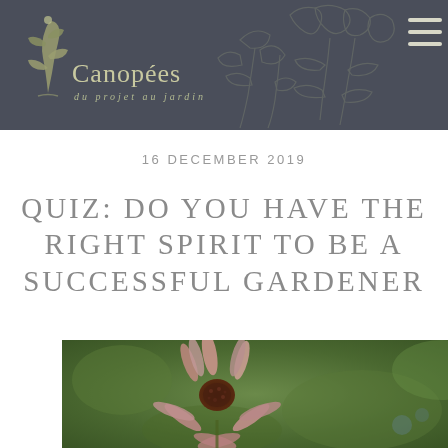[Figure (illustration): Website header banner with dark slate-blue background, a botanical line-art sketch of plants/flowers on the right, a plant logo icon and 'Canopées du projet au jardin' text on the left, and a hamburger menu icon in the top right corner.]
16 DECEMBER 2019
QUIZ: DO YOU HAVE THE RIGHT SPIRIT TO BE A SUCCESSFUL GARDENER
[Figure (photo): Close-up photo of a pink/mauve daisy-like flower (echinacea/coneflower) with drooping petals and a dark center, set against a blurred green garden background.]